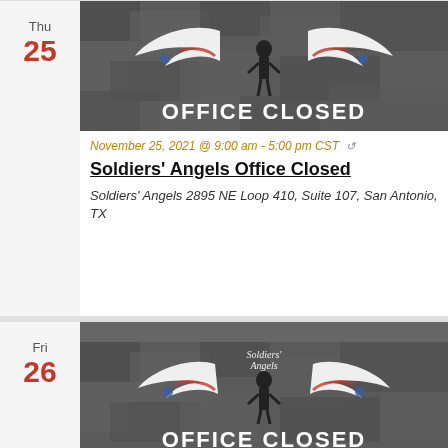[Figure (illustration): Soldiers' Angels Office Closed banner image with eagle/angel wings and silhouette on camouflage background, text reads OFFICE CLOSED]
November 25, 2021 @ 9:00 am - 5:00 pm CST ↺
Soldiers' Angels Office Closed
Soldiers' Angels 2895 NE Loop 410, Suite 107, San Antonio, TX
[Figure (illustration): Soldiers' Angels Office Closed banner image with eagle/angel wings and silhouette on camouflage background, text reads OFFICE CLOSED]
November 26, 2021 @ 9:00 am - 5:00 pm CST ↺